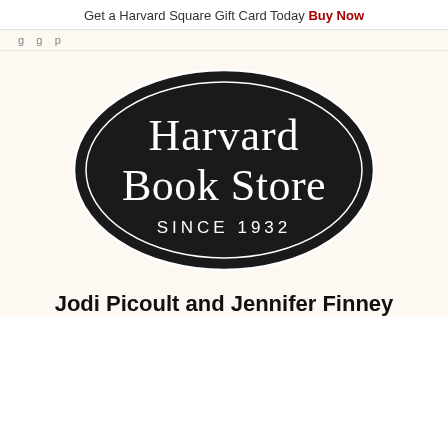Get a Harvard Square Gift Card Today Buy Now
g...g...p...
[Figure (logo): Harvard Book Store oval logo with dark background, white serif text reading 'Harvard Book Store' and 'SINCE 1932' in spaced capitals]
Jodi Picoult and Jennifer Finney